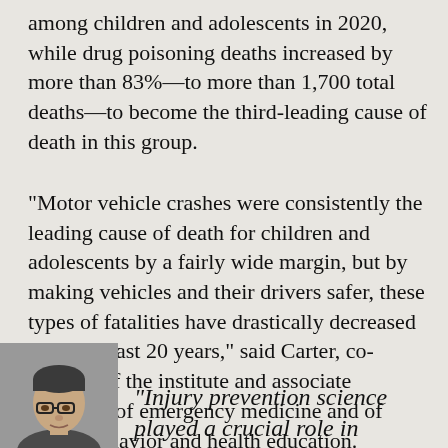among children and adolescents in 2020, while drug poisoning deaths increased by more than 83%—to more than 1,700 total deaths—to become the third-leading cause of death in this group.
"Motor vehicle crashes were consistently the leading cause of death for children and adolescents by a fairly wide margin, but by making vehicles and their drivers safer, these types of fatalities have drastically decreased over the past 20 years," said Carter, co-director of the institute and associate professor of emergency medicine and of health behavior and health education.
[Figure (photo): Headshot of a man wearing glasses, partial view at bottom left of page]
"Injury prevention science played a crucial role in